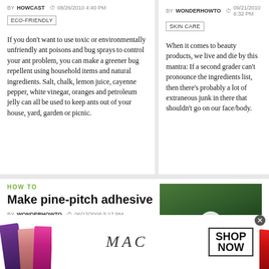BY HOWCAST  08/26/2010 4:40 PM
ECO-FRIENDLY
If you don't want to use toxic or environmentally unfriendly ant poisons and bug sprays to control your ant problem, you can make a greener bug repellent using household items and natural ingredients. Salt, chalk, lemon juice, cayenne pepper, white vinegar, oranges and petroleum jelly can all be used to keep ants out of your house, yard, garden or picnic.
BY WONDERHOWTO  09/21/2010 6:32 PM
SKIN CARE
When it comes to beauty products, we live and die by this mantra: If a second grader can't pronounce the ingredients list, then there's probably a lot of extraneous junk in there that shouldn't go on our face/body.
HOW TO
Make pine-pitch adhesive
BY WONDERHOWTO  06/13/2008 5:17 PM
SURVIVAL TRAINING
[Figure (photo): Thumbnail image of outdoors scene with play button overlay for video]
[Figure (photo): MAC cosmetics advertisement banner showing colorful lipsticks, MAC logo, and SHOP NOW button]